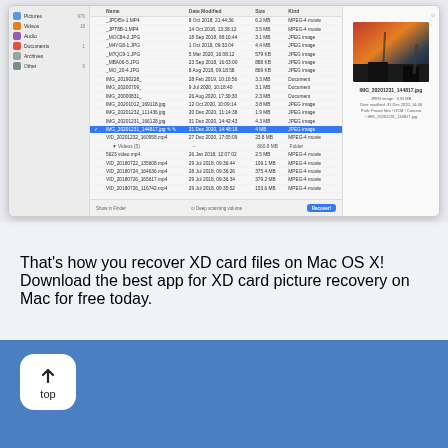[Figure (screenshot): macOS file recovery application showing a Finder-like window with a list of files (photos and videos), a sidebar with categories like Pictures, Videos, Audio, Documents, Archives, Other, a preview panel showing IMG_20201231_144817.jpg (a sunset/dusk photo) with metadata, and a Recover button at the bottom right.]
That's how you recover XD card files on Mac OS X! Download the best app for XD card picture recovery on Mac for free today.
[Figure (illustration): A white rounded-square icon on a blue background showing an upward arrow (↑) above the word 'top', resembling a back-to-top button.]